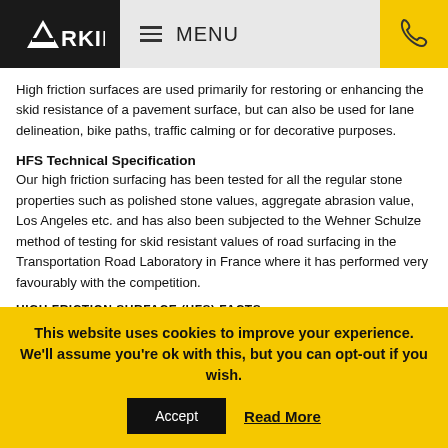ARKIL | MENU
High friction surfaces are used primarily for restoring or enhancing the skid resistance of a pavement surface, but can also be used for lane delineation, bike paths, traffic calming or for decorative purposes.
HFS Technical Specification
Our high friction surfacing has been tested for all the regular stone properties such as polished stone values, aggregate abrasion value, Los Angeles etc. and has also been subjected to the Wehner Schulze method of testing for skid resistant values of road surfacing in the Transportation Road Laboratory in France where it has performed very favourably with the competition.
HIGH FRICTION SURFACE (HFS) FACTS
HFS enables the skid resistance on existing pavements to be restored
This website uses cookies to improve your experience. We'll assume you're ok with this, but you can opt-out if you wish.
Accept | Read More